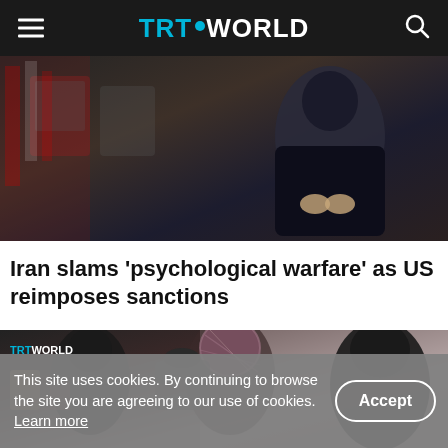TRT WORLD
[Figure (photo): A person dressed in dark clothing seated in what appears to be an ornate room with red and white decorative elements in the background.]
Iran slams 'psychological warfare' as US reimposes sanctions
[Figure (photo): A group of people wearing headscarves, with a TRT World watermark in the top-left corner. Appears to be a news video still.]
This site uses cookies. By continuing to browse the site you are agreeing to our use of cookies. Learn more